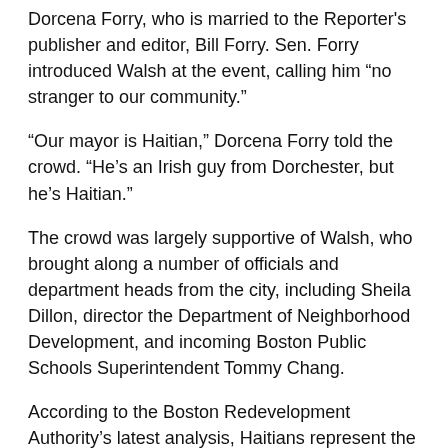Dorcena Forry, who is married to the Reporter's publisher and editor, Bill Forry. Sen. Forry introduced Walsh at the event, calling him “no stranger to our community.”
“Our mayor is Haitian,” Dorcena Forry told the crowd. “He’s an Irish guy from Dorchester, but he’s Haitian.”
The crowd was largely supportive of Walsh, who brought along a number of officials and department heads from the city, including Sheila Dillon, director the Department of Neighborhood Development, and incoming Boston Public Schools Superintendent Tommy Chang.
According to the Boston Redevelopment Authority’s latest analysis, Haitians represent the third largest immigrant group in Boston after people from Dominican Republic and China. Boston has the third-